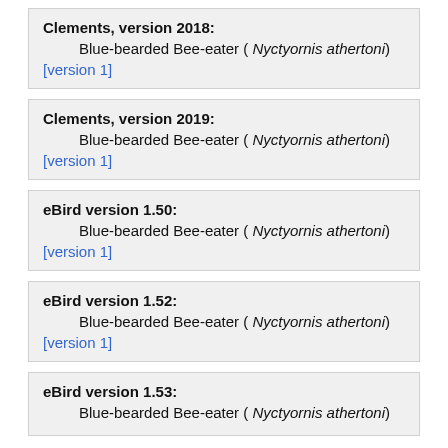Clements, version 2018: Blue-bearded Bee-eater ( Nyctyornis athertoni) [version 1]
Clements, version 2019: Blue-bearded Bee-eater ( Nyctyornis athertoni) [version 1]
eBird version 1.50: Blue-bearded Bee-eater ( Nyctyornis athertoni) [version 1]
eBird version 1.52: Blue-bearded Bee-eater ( Nyctyornis athertoni) [version 1]
eBird version 1.53: Blue-bearded Bee-eater ( Nyctyornis athertoni)